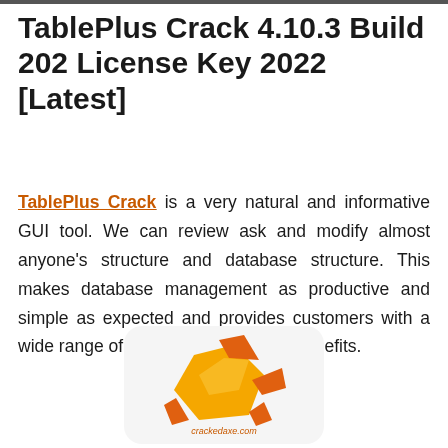TablePlus Crack 4.10.3 Build 202 License Key 2022 [Latest]
TablePlus Crack is a very natural and informative GUI tool. We can review ask and modify almost anyone's structure and database structure. This makes database management as productive and simple as expected and provides customers with a wide range of tools and geographic benefits.
[Figure (logo): TablePlus application logo — an orange and yellow geometric origami-style bird/shape icon with a watermark reading crackedaxe.com, displayed on a light rounded rectangle background]